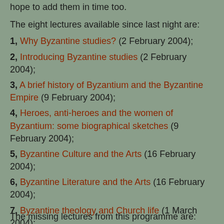hope to add them in time too.
The eight lectures available since last night are:
1, Why Byzantine studies? (2 February 2004);
2, Introducing Byzantine studies (2 February 2004);
3, A brief history of Byzantium and the Byzantine Empire (9 February 2004);
4, Heroes, anti-heroes and the women of Byzantium: some biographical sketches (9 February 2004);
5, Byzantine Culture and the Arts (16 February 2004);
6, Byzantine Literature and the Arts (16 February 2004);
7, Byzantine theology and Church life (1 March 2004);
8, Icons and Byzantine spirituality (1 March 2004).
The missing lectures from this programme are: